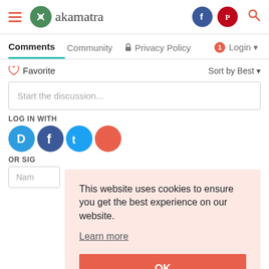akamatra — website header with hamburger menu, logo, Facebook, Pinterest, and search icons
Comments  Community  Privacy Policy  Login
♡ Favorite  Sort by Best
Start the discussion...
LOG IN WITH
OR SIGN
Nam
This website uses cookies to ensure you get the best experience on our website. Learn more
OK